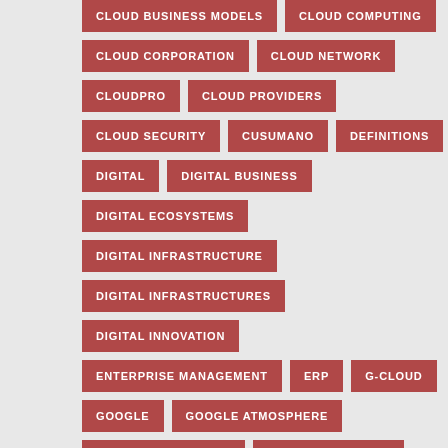CLOUD CORPORATION
CLOUD NETWORK
CLOUDPRO
CLOUD PROVIDERS
CLOUD SECURITY
CUSUMANO
DEFINITIONS
DIGITAL
DIGITAL BUSINESS
DIGITAL ECOSYSTEMS
DIGITAL INFRASTRUCTURE
DIGITAL INFRASTRUCTURES
DIGITAL INNOVATION
ENTERPRISE MANAGEMENT
ERP
G-CLOUD
GOOGLE
GOOGLE ATMOSPHERE
GOVERNMENT CLOUD
GREEN COMPUTING
GRID COMPUTING
GRIDPP
HIRING